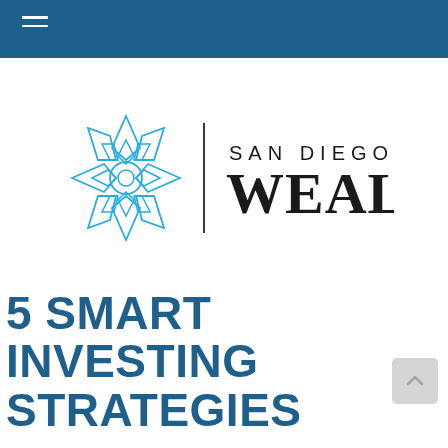[Figure (logo): San Diego Wealth logo: blue geometric flower/mandala icon on the left, a vertical black divider line, and text 'SAN DIEGO' in spaced caps above 'WEALTH' in large bold serif font on the right.]
5 SMART INVESTING STRATEGIES